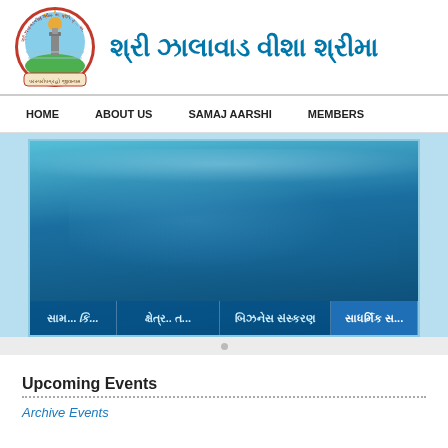[Figure (logo): Circular organizational seal/logo with a building/tower graphic, sun, and Gujarati/Sanskrit text around the border. Bottom banner reads 'પરસ્પરોપગ્રહો જીવાનામ']
શ્રી ઝાલાવાડ વીશા શ્રીમાલ
HOME   ABOUT US   SAMAJ AARSHI   MEMBERS
[Figure (photo): Hero image: underwater blue ocean scene with light rays filtering through water, with Gujarati navigation links at the bottom: સામ... કિ..., ક્ષેત્ર... ત...  ,..,  ,,   , ...., ,   . with highlighted tabs for બિઝનેસ સંસ્કરણ and સાધર્મિક સ...]
Upcoming Events
Archive Events